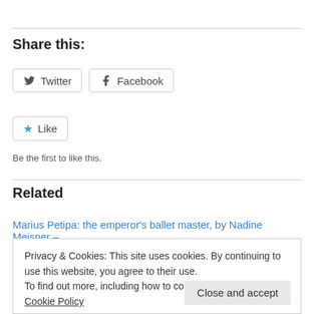Share this:
Twitter  Facebook
Like
Be the first to like this.
Related
Marius Petipa: the emperor's ballet master, by Nadine Meisner –
Privacy & Cookies: This site uses cookies. By continuing to use this website, you agree to their use.
To find out more, including how to control cookies, see here: Cookie Policy
Close and accept